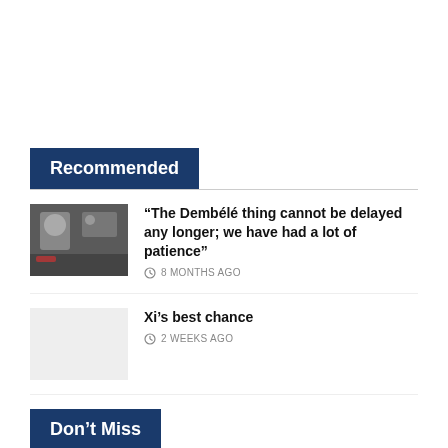Recommended
“The Dembélé thing cannot be delayed any longer; we have had a lot of patience” — 8 MONTHS AGO
Xi’s best chance — 2 WEEKS AGO
Don’t Miss